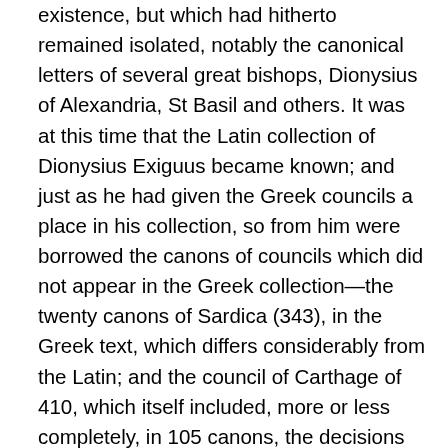existence, but which had hitherto remained isolated, notably the canonical letters of several great bishops, Dionysius of Alexandria, St Basil and others. It was at this time that the Latin collection of Dionysius Exiguus became known; and just as he had given the Greek councils a place in his collection, so from him were borrowed the canons of councils which did not appear in the Greek collection—the twenty canons of Sardica (343), in the Greek text, which differs considerably from the Latin; and the council of Carthage of 410, which itself included, more or less completely, in 105 canons, the decisions of the African councils. Soon after came the council in Trullo (692), also called the Quinisextum, because it was considered as complementary to the two councils (5th and 6th ecumenical) of Constantinople (553 and 680), which had not made any disciplinary canons. This assembly elaborated 102 canons, which did not become part of the